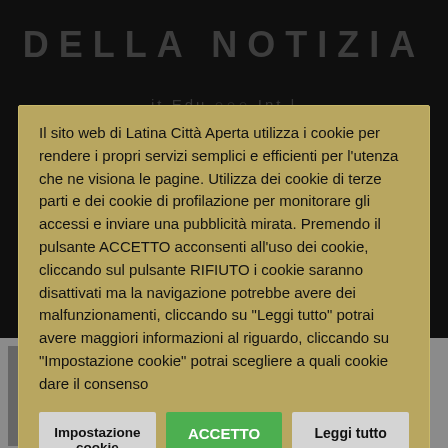DELLA NOTIZIA
Il sito web di Latina Città Aperta utilizza i cookie per rendere i propri servizi semplici e efficienti per l'utenza che ne visiona le pagine. Utilizza dei cookie di terze parti e dei cookie di profilazione per monitorare gli accessi e inviare una pubblicità mirata. Premendo il pulsante ACCETTO acconsenti all'uso dei cookie, cliccando sul pulsante RIFIUTO i cookie saranno disattivati ma la navigazione potrebbe avere dei malfunzionamenti, cliccando su "Leggi tutto" potrai avere maggiori informazioni al riguardo, cliccando su "Impostazione cookie" potrai scegliere a quali cookie dare il consenso
Impostazione cookie
ACCETTO
Leggi tutto
RIFIUTO
In che mondo viviamo? Quella che dovrebbe essere l'era dell'informazione, è invece l'era dei media: la realtà si è trasformata nella sua rappresentazione.Il potente mezzo tecnologico arriva ovunque e ci...